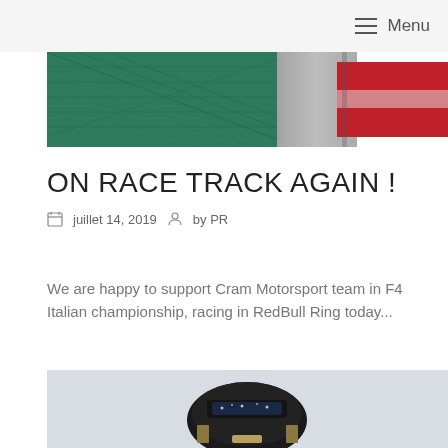Menu
[Figure (photo): Top banner image showing green mesh/net texture and red/silver racing car body parts]
ON RACE TRACK AGAIN !
juillet 14, 2019  by PR
We are happy to support Cram Motorsport team in F4 Italian championship, racing in RedBull Ring today...
[Figure (photo): Bottom image showing racing helmet or equipment on light blue/grey background]